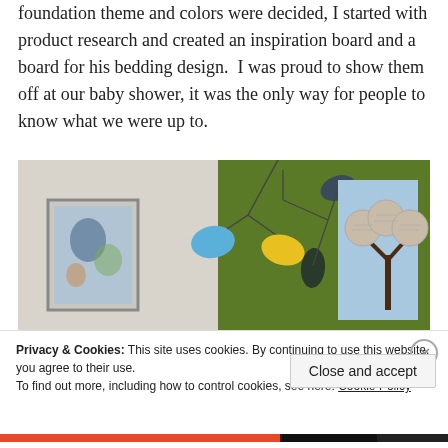foundation theme and colors were decided, I started with product research and created an inspiration board and a board for his bedding design.  I was proud to show them off at our baby shower, it was the only way for people to know what we were up to.
[Figure (photo): Photo of a baby room showing a mobile with blue and yellow leaf shapes, a green painted wall with painted branches, framed artwork on white wall, and wall art showing trees with circular foliage.]
Privacy & Cookies: This site uses cookies. By continuing to use this website, you agree to their use.
To find out more, including how to control cookies, see here: Cookie Policy
Close and accept